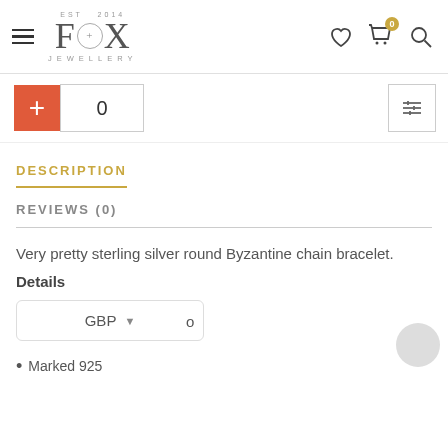[Figure (logo): Fox Jewellery logo with EST 2014, hamburger menu, heart icon, cart icon with badge 0, search icon]
[Figure (screenshot): Quantity controls: red plus button, input showing 0, filter icon on right]
DESCRIPTION
REVIEWS (0)
Very pretty sterling silver round Byzantine chain bracelet.
Details
[Figure (screenshot): GBP currency dropdown selector]
Marked 925